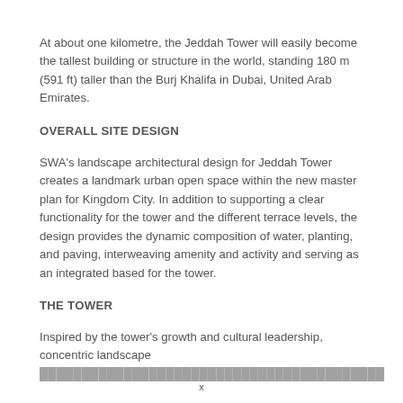At about one kilometre, the Jeddah Tower will easily become the tallest building or structure in the world, standing 180 m (591 ft) taller than the Burj Khalifa in Dubai, United Arab Emirates.
OVERALL SITE DESIGN
SWA's landscape architectural design for Jeddah Tower creates a landmark urban open space within the new master plan for Kingdom City. In addition to supporting a clear functionality for the tower and the different terrace levels, the design provides the dynamic composition of water, planting, and paving, interweaving amenity and activity and serving as an integrated based for the tower.
THE TOWER
Inspired by the tower's growth and cultural leadership, concentric landscape
x